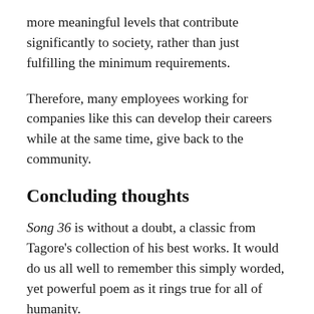more meaningful levels that contribute significantly to society, rather than just fulfilling the minimum requirements.
Therefore, many employees working for companies like this can develop their careers while at the same time, give back to the community.
Concluding thoughts
Song 36 is without a doubt, a classic from Tagore's collection of his best works. It would do us all well to remember this simply worded, yet powerful poem as it rings true for all of humanity.
It is surely something that will last through generations to come as it also transcends the